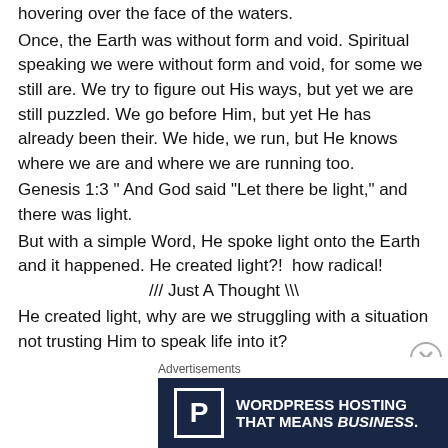hovering over the face of the waters. (clipped at top)
Once, the Earth was without form and void. Spiritual speaking we were without form and void, for some we still are. We try to figure out His ways, but yet we are still puzzled. We go before Him, but yet He has already been their. We hide, we run, but He knows where we are and where we are running too.
Genesis 1:3 " And God said "Let there be light," and there was light.
But with a simple Word, He spoke light onto the Earth and it happened. He created light?!  how radical!
/// Just A Thought \\\
He created light, why are we struggling with a situation not trusting Him to speak life into it?
The same God who spoke light into existence can speak light into your darkest moments and speak life into the
Advertisements
[Figure (other): Advertisement banner for WordPress Hosting with a blue background showing the WordPress 'P' logo on the left, text 'WORDPRESS HOSTING THAT MEANS BUSINESS.' in white bold text in the center, and a photo of an 'OPEN' sign on the right.]